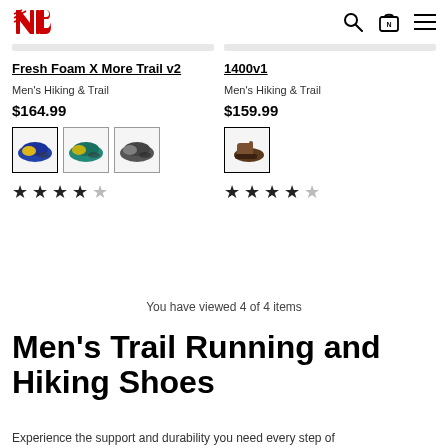New Balance — search, cart, menu
Fresh Foam X More Trail v2 — Men's Hiking & Trail — $164.99 — 4 stars
1400v1 — Men's Hiking & Trail — $159.99 — 4 stars
You have viewed 4 of 4 items
Men's Trail Running and Hiking Shoes
Experience the support and durability you need every step of